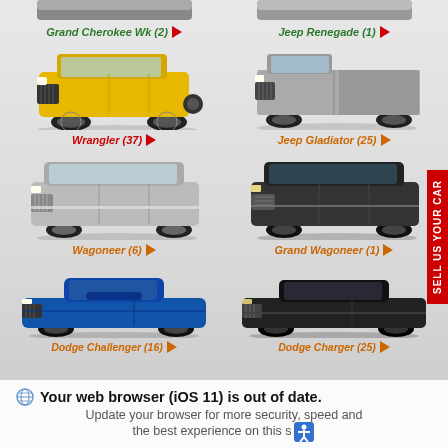[Figure (photo): Partial view of two vehicles at top of page (cropped)]
Grand Cherokee Wk (2)
[Figure (photo): Yellow Jeep Wrangler]
Jeep Renegade (1)
[Figure (photo): Gray Jeep Gladiator pickup truck]
Wrangler (37)
Jeep Gladiator (25)
[Figure (photo): Silver Jeep Wagoneer SUV]
[Figure (photo): Black Grand Wagoneer SUV]
Wagoneer (6)
Grand Wagoneer (1)
[Figure (photo): Blue Dodge Challenger muscle car]
[Figure (photo): Black Dodge Charger sedan]
Dodge Challenger (16)
Dodge Charger (25)
Your web browser (iOS 11) is out of date. Update your browser for more security, speed and the best experience on this s…